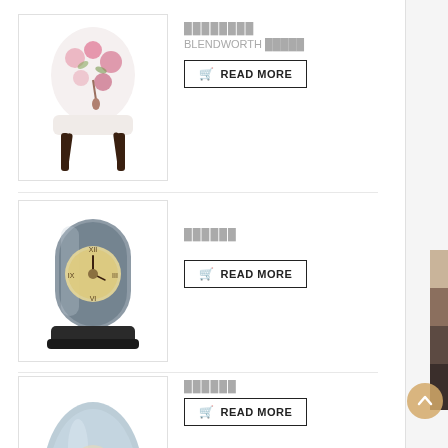[Figure (photo): Floral patterned accent chair with pink roses fabric and dark wooden legs]
████████
BLENDWORTH █████
🛒READ MORE
[Figure (photo): Cylindrical glass mantel clock with exposed movement, dark base]
██████
🛒READ MORE
[Figure (photo): Dome-shaped crystal mantel clock with ornate face]
██████
🛒READ MORE